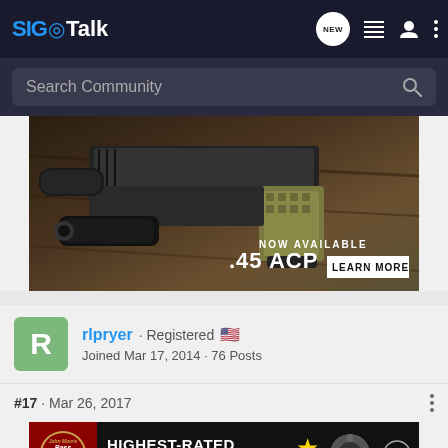SIG Talk
Search Community
[Figure (photo): Advertisement banner showing a pistol with tactical light on a wooden surface. Text reads: NOW AVAILABLE .45 ACP LEARN MORE]
rlpryer · Registered 🇺🇸
Joined Mar 17, 2014 · 76 Posts
#17 · Mar 26, 2017
[Figure (photo): Bass Pro Shops advertisement banner. Text reads: HIGHEST-RATED GEAR. Shows star rating 4.2 and a gear/engine part image with play button.]
wsp22